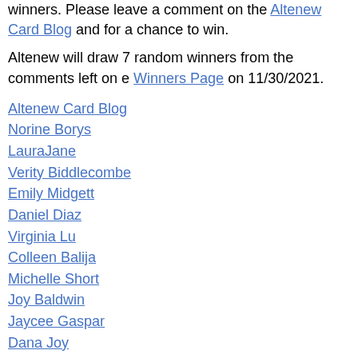winners. Please leave a comment on the Altenew Card Blog and for a chance to win.
Altenew will draw 7 random winners from the comments left on e Winners Page on 11/30/2021.
Altenew Card Blog
Norine Borys
LauraJane
Verity Biddlecombe
Emily Midgett
Daniel Diaz
Virginia Lu
Colleen Balija
Michelle Short
Joy Baldwin
Jaycee Gaspar
Dana Joy
Nathalie DeSousa
Teresa Litchfield
Jenny Colacicco
Sandhya Iyer
Terri Koszler